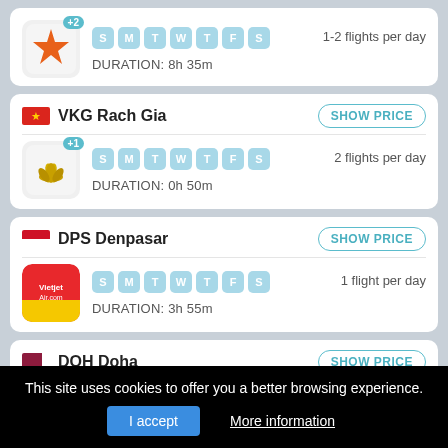[Figure (screenshot): Airline logo with orange star, partial first card showing flight schedule]
DURATION: 8h 35m
1-2 flights per day
VKG Rach Gia
SHOW PRICE
[Figure (logo): Lotus flower airline logo]
DURATION: 0h 50m
2 flights per day
DPS Denpasar
SHOW PRICE
[Figure (logo): Vietjet Air logo red square]
DURATION: 3h 55m
1 flight per day
DOH Doha
SHOW PRICE
This site uses cookies to offer you a better browsing experience.
I accept
More information